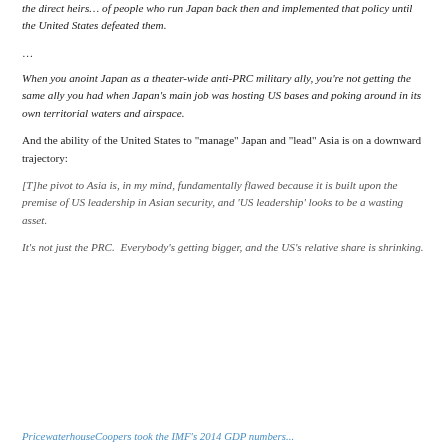the direct heirs ... of people who run Japan back then and implemented that policy until the United States defeated them.
…
When you anoint Japan as a theater-wide anti-PRC military ally, you're not getting the same ally you had when Japan's main job was hosting US bases and poking around in its own territorial waters and airspace.
And the ability of the United States to "manage" Japan and "lead" Asia is on a downward trajectory:
[T]he pivot to Asia is, in my mind, fundamentally flawed because it is built upon the premise of US leadership in Asian security, and 'US leadership' looks to be a wasting asset.
It's not just the PRC.  Everybody's getting bigger, and the US's relative share is shrinking.
PricewaterhouseCoopers took the IMF's 2014 GDP numbers...